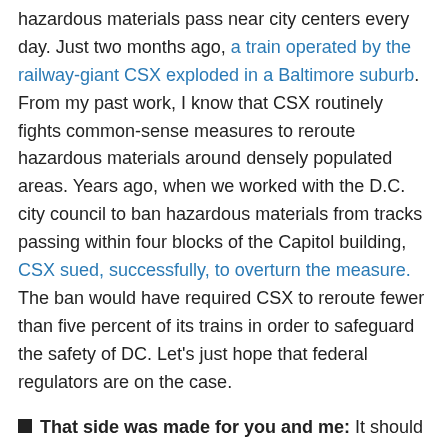hazardous materials pass near city centers every day. Just two months ago, a train operated by the railway-giant CSX exploded in a Baltimore suburb. From my past work, I know that CSX routinely fights common-sense measures to reroute hazardous materials around densely populated areas. Years ago, when we worked with the D.C. city council to ban hazardous materials from tracks passing within four blocks of the Capitol building, CSX sued, successfully, to overturn the measure. The ban would have required CSX to reroute fewer than five percent of its trains in order to safeguard the safety of DC. Let's just hope that federal regulators are on the case.
That side was made for you and me: It should be no surprise, but the Obamans are pro-fracking. Interior Secretary Sally Jewell testified in support of proposed